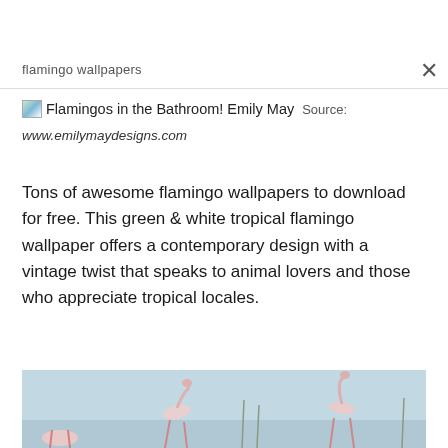flamingo wallpapers
Flamingos in the Bathroom! Emily May  Source: www.emilymaydesigns.com
Tons of awesome flamingo wallpapers to download for free. This green & white tropical flamingo wallpaper offers a contemporary design with a vintage twist that speaks to animal lovers and those who appreciate tropical locales.
[Figure (photo): Photo of flamingos standing in shallow water with a soft blue-grey background]